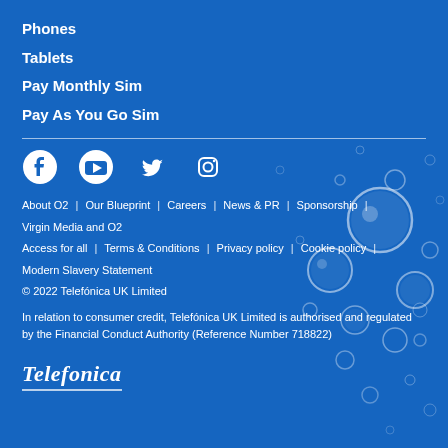Phones
Tablets
Pay Monthly Sim
Pay As You Go Sim
[Figure (infographic): Social media icons: Facebook, YouTube, Twitter, Instagram]
About O2 | Our Blueprint | Careers | News & PR | Sponsorship | Virgin Media and O2
Access for all | Terms & Conditions | Privacy policy | Cookie policy | Modern Slavery Statement
© 2022 Telefónica UK Limited
In relation to consumer credit, Telefónica UK Limited is authorised and regulated by the Financial Conduct Authority (Reference Number 718822)
[Figure (logo): Telefonica script logo in white italic text]